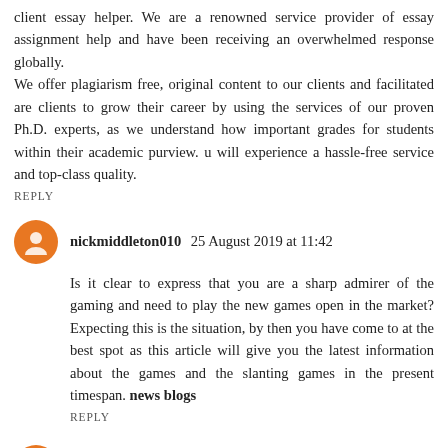client essay helper. We are a renowned service provider of essay assignment help and have been receiving an overwhelmed response globally.
We offer plagiarism free, original content to our clients and facilitated are clients to grow their career by using the services of our proven Ph.D. experts, as we understand how important grades for students within their academic purview. u will experience a hassle-free service and top-class quality.
REPLY
nickmiddleton010  25 August 2019 at 11:42
Is it clear to express that you are a sharp admirer of the gaming and need to play the new games open in the market? Expecting this is the situation, by then you have come to at the best spot as this article will give you the latest information about the games and the slanting games in the present timespan. news blogs
REPLY
Asish Chalcha  28 August 2019 at 09:29